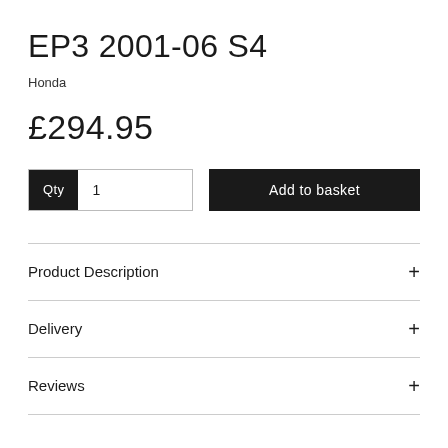EP3 2001-06 S4
Honda
£294.95
Qty  1   Add to basket
Product Description
Delivery
Reviews